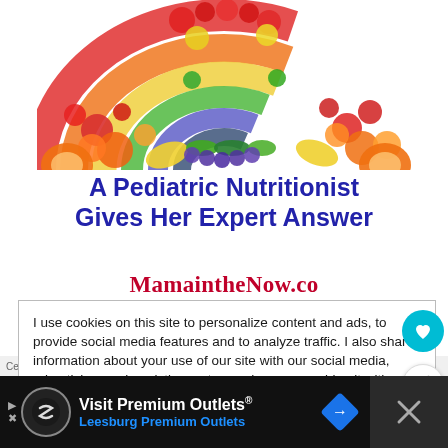[Figure (photo): Rainbow arc made of colorful fruits and vegetables arranged by color of the rainbow on a white background]
A Pediatric Nutritionist Gives Her Expert Answer
MamaintheNow.co
I use cookies on this site to personalize content and ads, to provide social media features and to analyze traffic. I also share information about your use of our site with our social media, advertising, and analytics partners who may combine it with other information that you've provided to the that they've collected from your use of their services. Privacy & Cookie Policy
Visit Premium Outlets® Leesburg Premium Outlets